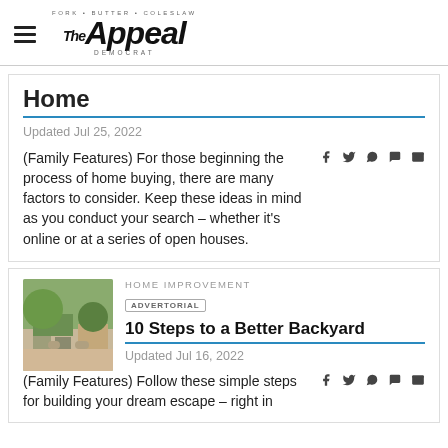The Appeal — FORK • BUTTER • COLESLAW — DEMOCRAT
Home
Updated Jul 25, 2022
(Family Features) For those beginning the process of home buying, there are many factors to consider. Keep these ideas in mind as you conduct your search – whether it's online or at a series of open houses.
HOME IMPROVEMENT
ADVERTORIAL
10 Steps to a Better Backyard
Updated Jul 16, 2022
(Family Features) Follow these simple steps for building your dream escape – right in